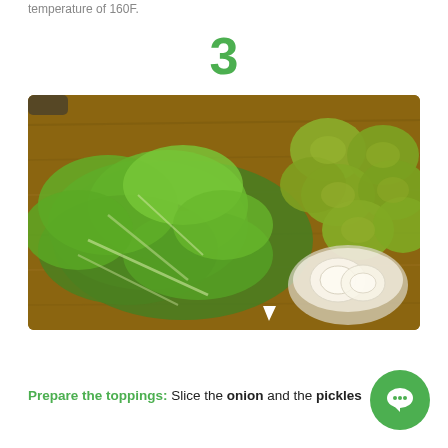temperature of 160F.
3
[Figure (photo): Chopped romaine lettuce, sliced pickles, and sliced onion on a wooden cutting board, with a chat bubble overlay saying 'Hi, welcome! How can I help?']
Prepare the toppings: Slice the onion and the pickles